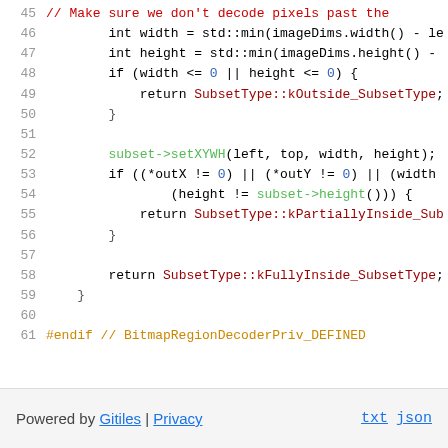[Figure (screenshot): Source code viewer showing C++ code lines 45-61 with syntax highlighting. Line 45: comment about not decoding pixels. Lines 46-47: int width and height calculations. Lines 48-50: if block returning kOutside_SubsetType. Line 51: blank. Line 52: subset->setXYWH call. Lines 53-56: if block returning kPartiallyInside. Line 57: blank. Line 58: return kFullyInside_SubsetType. Line 59: closing brace. Line 60: blank. Line 61: #endif preprocessor directive.]
Powered by Gitiles | Privacy    txt  json